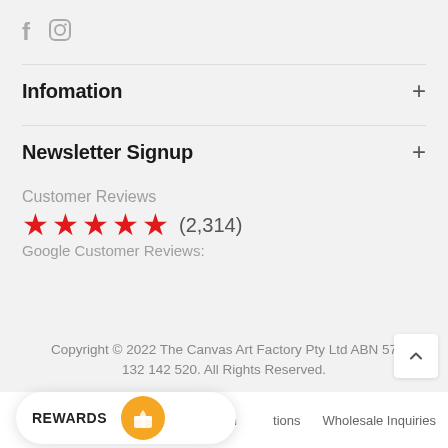[Figure (other): Social media icons: Facebook (f) and Instagram (circle with camera icon) in gray]
Infomation
Newsletter Signup
Customer Reviews
★★★★★ (2,314)
Google Customer Reviews:
Copyright © 2022 The Canvas Art Factory Pty Ltd ABN 57 132 142 520. All Rights Reserved.
rns Policy   Shipping Information
tions   Wholesale Inquiries
REWARDS